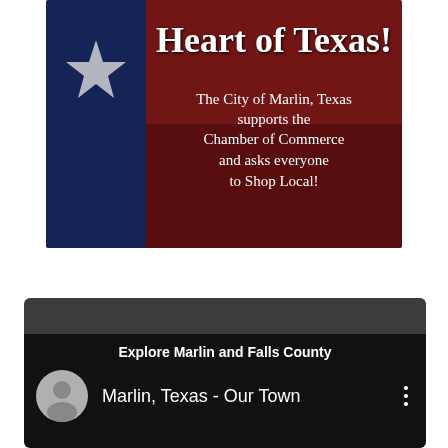[Figure (illustration): Texas flag background image with bold white text. Top text (partially cut off): 'Heart of Texas!' followed by body text: 'The City of Marlin, Texas supports the Chamber of Commerce and asks everyone to Shop Local!']
[Figure (screenshot): Dark UI panel with title 'Explore Marlin and Falls County' and a playlist row showing a gray avatar circle with user icon and text 'Marlin, Texas - Our Town' with a three-dot menu icon on the right.]